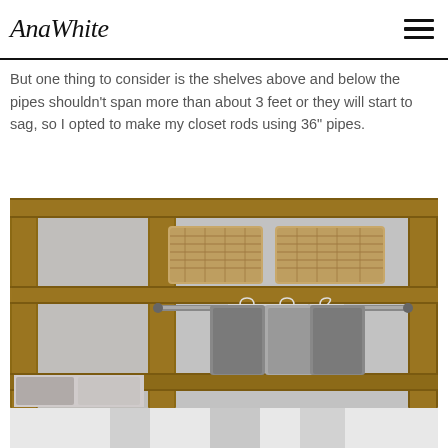AnaWhite
But one thing to consider is the shelves above and below the pipes shouldn't span more than about 3 feet or they will start to sag, so I opted to make my closet rods using 36" pipes.
[Figure (photo): A wooden closet shelving unit with rustic wood frames, showing wicker baskets on the upper shelf and clothes hanging on a metal rod below, with pillows visible on a lower left shelf. A second photo below shows clothes hanging in white light.]